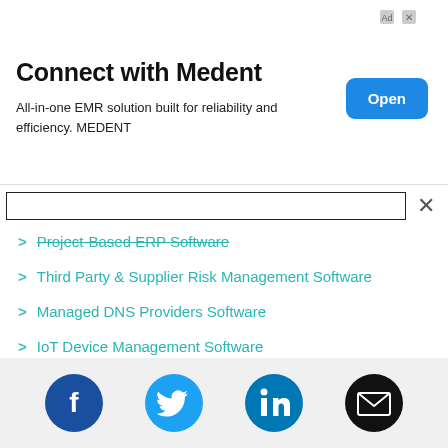[Figure (infographic): Advertisement banner for Medent EMR software with title 'Connect with Medent', subtitle text, and an 'Open' button]
> Project-Based ERP Software
> Third Party & Supplier Risk Management Software
> Managed DNS Providers Software
> IoT Device Management Software
> Drug Discovery Software
> Swim Club Management Software
[Figure (infographic): Social media icons row: Facebook (blue circle with F), Twitter (blue circle with bird), LinkedIn (blue circle with in), Email (black circle with envelope)]